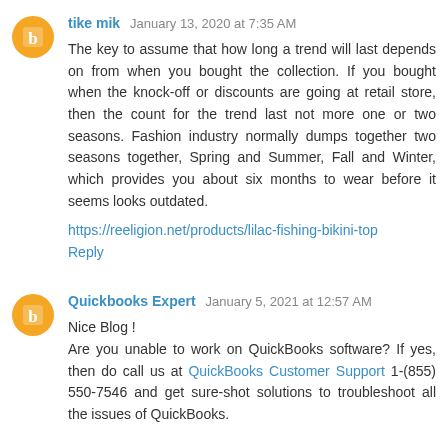tike mik January 13, 2020 at 7:35 AM
The key to assume that how long a trend will last depends on from when you bought the collection. If you bought when the knock-off or discounts are going at retail store, then the count for the trend last not more one or two seasons. Fashion industry normally dumps together two seasons together, Spring and Summer, Fall and Winter, which provides you about six months to wear before it seems looks outdated.
https://reeligion.net/products/lilac-fishing-bikini-top
Reply
Quickbooks Expert January 5, 2021 at 12:57 AM
Nice Blog ! Are you unable to work on QuickBooks software? If yes, then do call us at QuickBooks Customer Support 1-(855) 550-7546 and get sure-shot solutions to troubleshoot all the issues of QuickBooks.